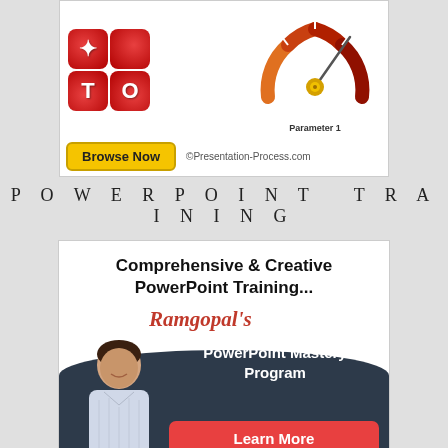[Figure (illustration): Advertisement box showing PowerPoint logo tiles (red squares with 'T' and 'O'), a gauge/speedometer showing 'Parameter 1', a yellow 'Browse Now' button, and '©Presentation-Process.com' text]
POWERPOINT TRAINING
[Figure (illustration): Advertisement for Ramgopal's PowerPoint Mastery Program showing 'Comprehensive & Creative PowerPoint Training...' headline, cursive 'Ramgopal's' text in red, a person's photo on dark navy background, 'PowerPoint Mastery Program' text in white, and a red 'Learn More' button]